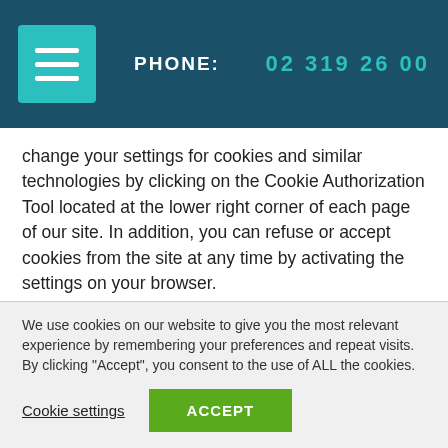PHONE: 02 319 26 00
change your settings for cookies and similar technologies by clicking on the Cookie Authorization Tool located at the lower right corner of each page of our site. In addition, you can refuse or accept cookies from the site at any time by activating the settings on your browser.
Information on how to allow or disable cookies can be found on your Internet browser provider’s website on your
We use cookies on our website to give you the most relevant experience by remembering your preferences and repeat visits. By clicking “Accept”, you consent to the use of ALL the cookies.
Cookie settings
ACCEPT